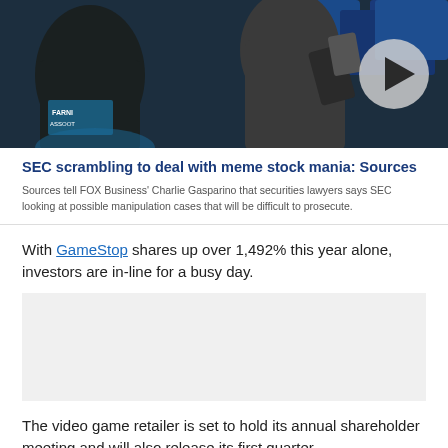[Figure (photo): Stock market trading floor scene with traders; play button overlay indicating video content]
SEC scrambling to deal with meme stock mania: Sources
Sources tell FOX Business' Charlie Gasparino that securities lawyers says SEC looking at possible manipulation cases that will be difficult to prosecute.
With GameStop shares up over 1,492% this year alone, investors are in-line for a busy day.
[Figure (other): Advertisement block]
The video game retailer is set to hold its annual shareholder meeting and will also release its first quarter